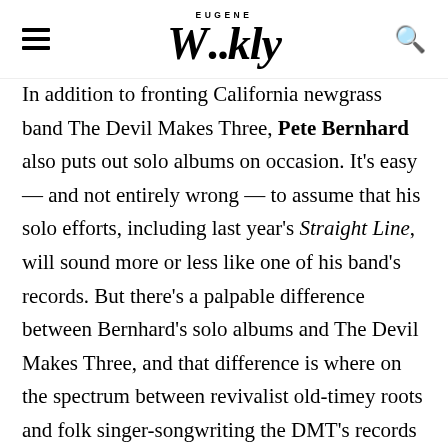EUGENE Weekly
In addition to fronting California newgrass band The Devil Makes Three, Pete Bernhard also puts out solo albums on occasion. It's easy — and not entirely wrong — to assume that his solo efforts, including last year's Straight Line, will sound more or less like one of his band's records. But there's a palpable difference between Bernhard's solo albums and The Devil Makes Three, and that difference is where on the spectrum between revivalist old-timey roots and folk singer-songwriting the DMT's records lie. The Devil Makes Three mainly deals in the former, with plenty of wiggle room in there for experimentation and genre-melding. Without